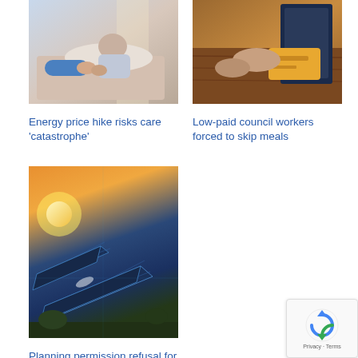[Figure (photo): Healthcare worker holding hands with elderly patient in bed]
Energy price hike risks care 'catastrophe'
[Figure (photo): Hands holding a credit card over a wooden table with binders]
Low-paid council workers forced to skip meals
[Figure (photo): Solar farm panels at sunset with glowing orange sky]
Planning permission refusal for solar farms sees 'significant uplift'